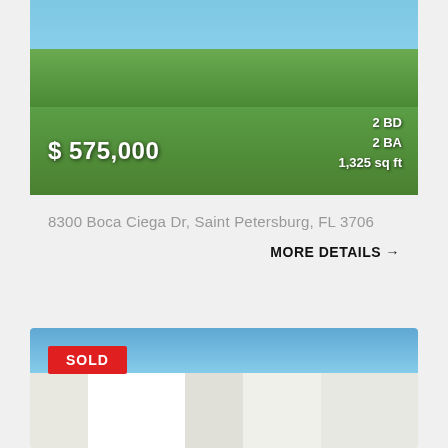[Figure (photo): Exterior photo of a residential property with tropical landscaping, palm trees, and green lawn. Shows a yellow house in the background.]
$ 575,000
2 BD
2 BA
1,325 sq ft
8300 Boca Ciega Dr, Saint Petersburg, FL 3706
MORE DETAILS →
[Figure (photo): Exterior photo of a multi-story white condominium building with teal/green roofing accents and blue sky background. A red SOLD badge is overlaid in the top-left corner.]
SOLD